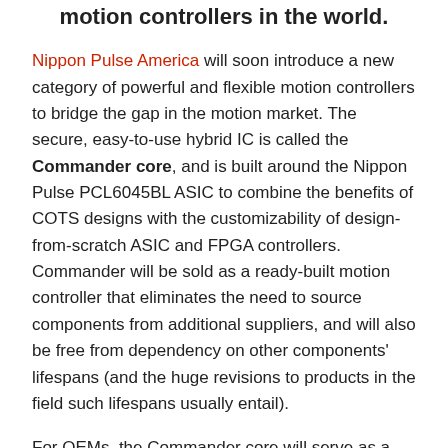motion controllers in the world.
Nippon Pulse America will soon introduce a new category of powerful and flexible motion controllers to bridge the gap in the motion market. The secure, easy-to-use hybrid IC is called the Commander core, and is built around the Nippon Pulse PCL6045BL ASIC to combine the benefits of COTS designs with the customizability of design-from-scratch ASIC and FPGA controllers. Commander will be sold as a ready-built motion controller that eliminates the need to source components from additional suppliers, and will also be free from dependency on other components' lifespans (and the huge revisions to products in the field such lifespans usually entail).
For OEMs, the Commander core will serve as a cost-